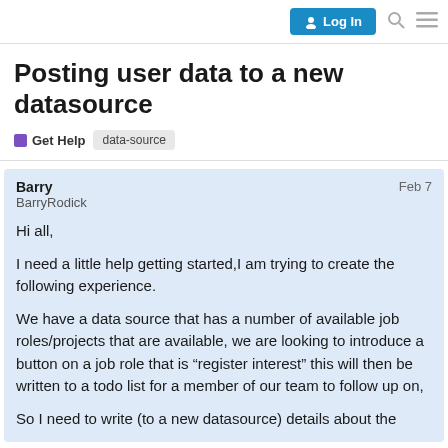Log In
Posting user data to a new datasource
Get Help   data-source
Barry   Feb 7
BarryRodick

Hi all,

I need a little help getting started,I am trying to create the following experience.

We have a data source that has a number of available job roles/projects that are available, we are looking to introduce a button on a job role that is “register interest” this will then be written to a todo list for a member of our team to follow up on,

So I need to write (to a new datasource) details about the